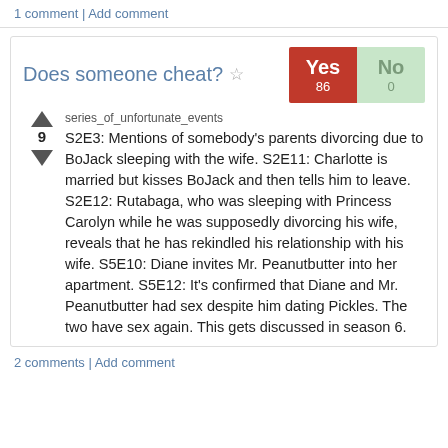1 comment | Add comment
Does someone cheat?
Yes 86 | No 0
series_of_unfortunate_events
S2E3: Mentions of somebody's parents divorcing due to BoJack sleeping with the wife. S2E11: Charlotte is married but kisses BoJack and then tells him to leave. S2E12: Rutabaga, who was sleeping with Princess Carolyn while he was supposedly divorcing his wife, reveals that he has rekindled his relationship with his wife. S5E10: Diane invites Mr. Peanutbutter into her apartment. S5E12: It's confirmed that Diane and Mr. Peanutbutter had sex despite him dating Pickles. The two have sex again. This gets discussed in season 6.
2 comments | Add comment